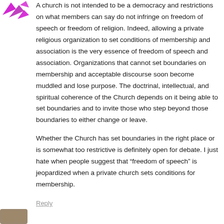[Figure (illustration): Partial avatar/icon image in purple/magenta tones, top-left corner, partially cropped]
A church is not intended to be a democracy and restrictions on what members can say do not infringe on freedom of speech or freedom of religion. Indeed, allowing a private religious organization to set conditions of membership and association is the very essence of freedom of speech and association. Organizations that cannot set boundaries on membership and acceptable discourse soon become muddled and lose purpose. The doctrinal, intellectual, and spiritual coherence of the Church depends on it being able to set boundaries and to invite those who step beyond those boundaries to either change or leave.
Whether the Church has set boundaries in the right place or is somewhat too restrictive is definitely open for debate. I just hate when people suggest that “freedom of speech” is jeopardized when a private church sets conditions for membership.
Reply
[Figure (photo): Partial avatar/profile image at the bottom-left corner, partially cropped]